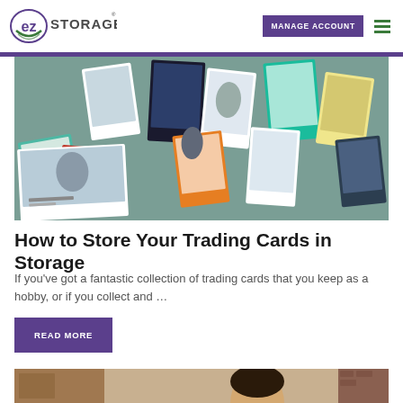EZ Storage – MANAGE ACCOUNT
[Figure (photo): Collage of sports trading cards spread across a surface, showing various football, baseball, and basketball player cards.]
How to Store Your Trading Cards in Storage
If you've got a fantastic collection of trading cards that you keep as a hobby, or if you collect and …
READ MORE
[Figure (photo): Person standing near moving boxes and a doorway, partially visible at the bottom of the page.]